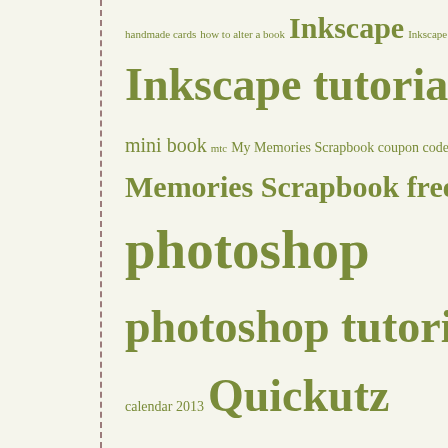handmade cards how to alter a book Inkscape Inkscape new release Inkscape tips Inkscape tutorial mini book mtc My Memories Scrapbook coupon code My Memories Scrapbook freebies photoshop photoshop tutorials printable calendar 2013 Quickutz Silhouette ROBO Master scrapbooking free layouts Silhouette America Silhouette Studio Sizzix wishblade word for scrapbooking